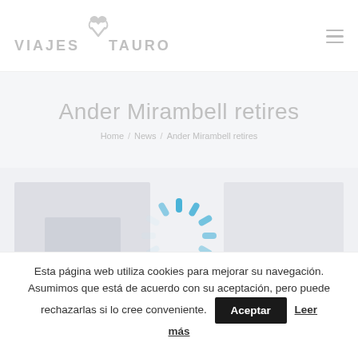VIAJES TAURO
Ander Mirambell retires
Home / News / Ander Mirambell retires
[Figure (other): Loading spinner (blue dashes in circular pattern) overlaid on a blurred/placeholder content area]
Esta página web utiliza cookies para mejorar su navegación. Asumimos que está de acuerdo con su aceptación, pero puede rechazarlas si lo cree conveniente. Aceptar Leer más